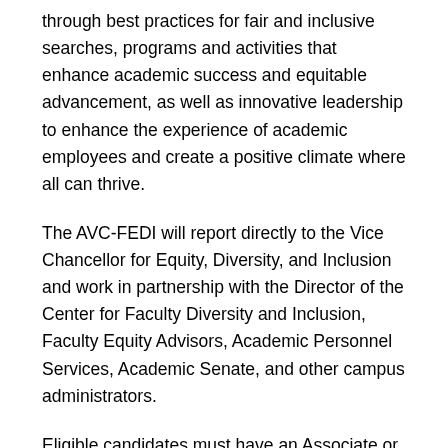through best practices for fair and inclusive searches, programs and activities that enhance academic success and equitable advancement, as well as innovative leadership to enhance the experience of academic employees and create a positive climate where all can thrive.
The AVC-FEDI will report directly to the Vice Chancellor for Equity, Diversity, and Inclusion and work in partnership with the Director of the Center for Faculty Diversity and Inclusion, Faculty Equity Advisors, Academic Personnel Services, Academic Senate, and other campus administrators.
Eligible candidates must have an Associate or Full Professor appointment or Academic Senate equivalent rank at UC San Diego; a distinguished record of teaching, research, and service; and a strong record of